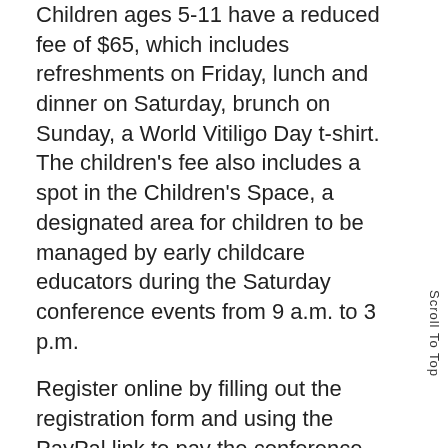Children ages 5-11 have a reduced fee of $65, which includes refreshments on Friday, lunch and dinner on Saturday, brunch on Sunday, a World Vitiligo Day t-shirt. The children's fee also includes a spot in the Children's Space, a designated area for children to be managed by early childcare educators during the Saturday conference events from 9 a.m. to 3 p.m.
Register online by filling out the registration form and using the PayPal link to pay the conference fee at http://www.wvddetroit2017.com/what-does-it-all-cost.
You Can Book the Designated Conference Hotel at a Special Event Rate Online